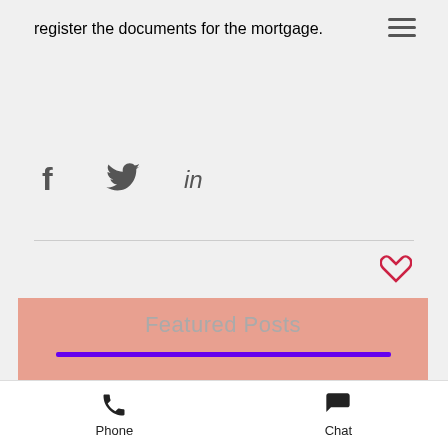register the documents for the mortgage.
[Figure (infographic): Social sharing icons: Facebook (f), Twitter (bird), LinkedIn (in)]
[Figure (infographic): Heart (like/favorite) icon in red/pink outline]
Featured Posts
[Figure (photo): Photo of birds flying in sky at dusk with a tower/spire silhouette]
Phone   Chat